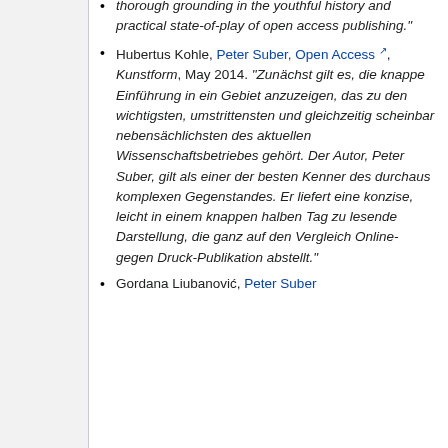thorough grounding in the youthful history and practical state-of-play of open access publishing."
Hubertus Kohle, Peter Suber, Open Access [external link], Kunstform, May 2014. "Zunächst gilt es, die knappe Einführung in ein Gebiet anzuzeigen, das zu den wichtigsten, umstrittensten und gleichzeitig scheinbar nebensächlichsten des aktuellen Wissenschaftsbetriebes gehört. Der Autor, Peter Suber, gilt als einer der besten Kenner des durchaus komplexen Gegenstandes. Er liefert eine konzise, leicht in einem knappen halben Tag zu lesende Darstellung, die ganz auf den Vergleich Online- gegen Druck-Publikation abstellt."
Gordana Liubanović, Peter Suber...